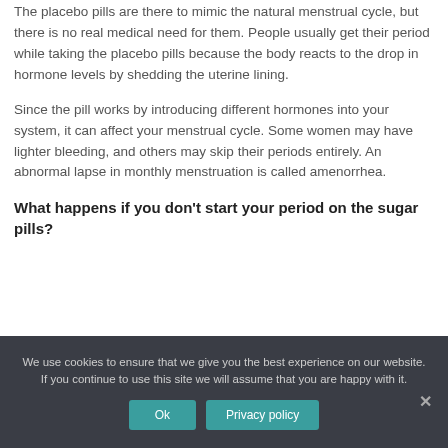The placebo pills are there to mimic the natural menstrual cycle, but there is no real medical need for them. People usually get their period while taking the placebo pills because the body reacts to the drop in hormone levels by shedding the uterine lining.
Since the pill works by introducing different hormones into your system, it can affect your menstrual cycle. Some women may have lighter bleeding, and others may skip their periods entirely. An abnormal lapse in monthly menstruation is called amenorrhea.
What happens if you don't start your period on the sugar pills?
We use cookies to ensure that we give you the best experience on our website. If you continue to use this site we will assume that you are happy with it.